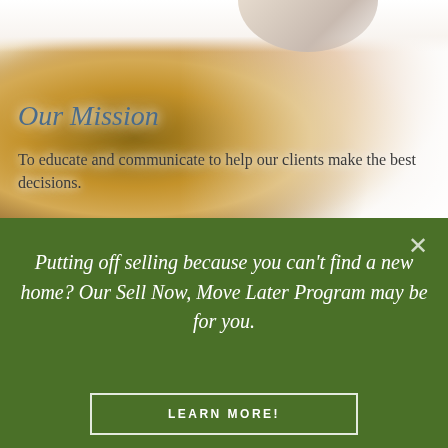[Figure (photo): Background photo of smiling people (family), used as hero image behind the mission statement section]
Our Mission
To educate and communicate to help our clients make the best decisions.
Putting off selling because you can't find a new home? Our Sell Now, Move Later Program may be for you.
LEARN MORE!